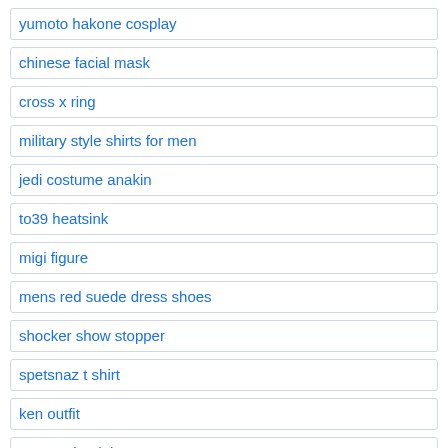yumoto hakone cosplay
chinese facial mask
cross x ring
military style shirts for men
jedi costume anakin
to39 heatsink
migi figure
mens red suede dress shoes
shocker show stopper
spetsnaz t shirt
ken outfit
cartoon book bags